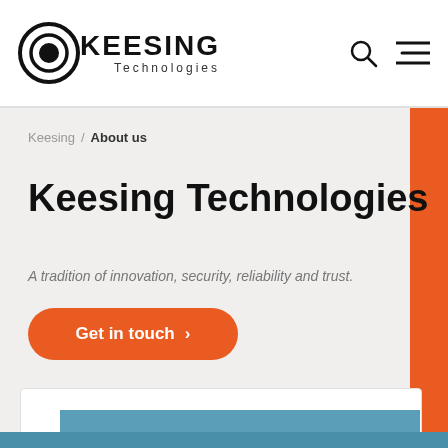[Figure (logo): Keesing Technologies logo with circular target icon and company name]
Keesing / About us
Keesing Technologies
A tradition of innovation, security, reliability and trust.
Get in touch >
[Figure (illustration): Blue rectangular image block at bottom of page, partially visible]